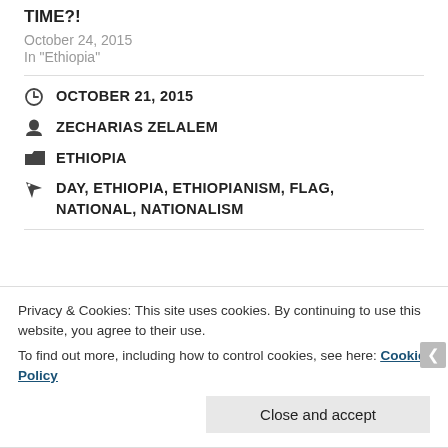TIME?!
October 24, 2015
In "Ethiopia"
OCTOBER 21, 2015
ZECHARIAS ZELALEM
ETHIOPIA
DAY, ETHIOPIA, ETHIOPIANISM, FLAG, NATIONAL, NATIONALISM
Privacy & Cookies: This site uses cookies. By continuing to use this website, you agree to their use.
To find out more, including how to control cookies, see here: Cookie Policy